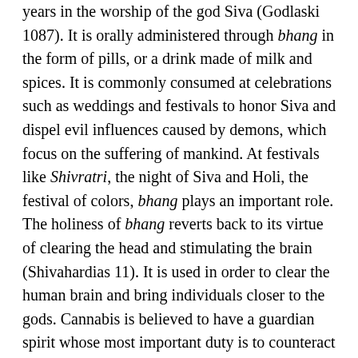years in the worship of the god Siva (Godlaski 1087). It is orally administered through bhang in the form of pills, or a drink made of milk and spices. It is commonly consumed at celebrations such as weddings and festivals to honor Siva and dispel evil influences caused by demons, which focus on the suffering of mankind. At festivals like Shivratri, the night of Siva and Holi, the festival of colors, bhang plays an important role. The holiness of bhang reverts back to its virtue of clearing the head and stimulating the brain (Shivahardias 11). It is used in order to clear the human brain and bring individuals closer to the gods. Cannabis is believed to have a guardian spirit whose most important duty is to counteract the attempts of evil demons. Worshippers of Siva consume bhang on festival days, and ascetic holy men smoke the flower buds in devotion to him. These holy men (sadhus) follow Lord Siva and consume regular quantities of cannabis. Most often, they smoke buds of the flower in clay pipes, called chillums, which are used in rituals of meditation, worship and yogic practices (Godlaski 1069). The ashes of the buds are believed to have powerful